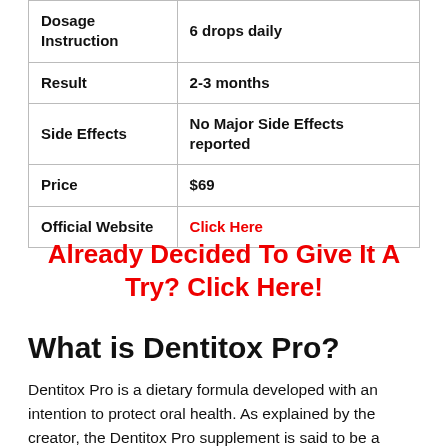| Dosage Instruction | 6 drops daily |
| Result | 2-3 months |
| Side Effects | No Major Side Effects reported |
| Price | $69 |
| Official Website | Click Here |
Already Decided To Give It A Try? Click Here!
What is Dentitox Pro?
Dentitox Pro is a dietary formula developed with an intention to protect oral health. As explained by the creator, the Dentitox Pro supplement is said to be a blend of natural ingredients with a host of dental health benefits.